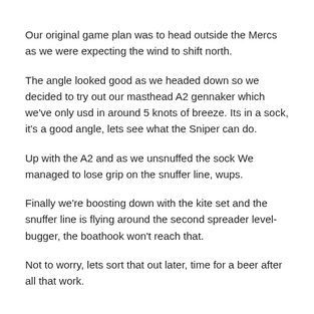Our original game plan was to head outside the Mercs as we were expecting the wind to shift north.
The angle looked good as we headed down so we decided to try out our masthead A2 gennaker which we've only usd in around 5 knots of breeze. Its in a sock, it's a good angle, lets see what the Sniper can do.
Up with the A2 and as we unsnuffed the sock We managed to lose grip on the snuffer line, wups.
Finally we're boosting down with the kite set and the snuffer line is flying around the second spreader level- bugger, the boathook won't reach that.
Not to worry, lets sort that out later, time for a beer after all that work.
The A2 did exactly what we hoped, full control with the bow lifting over the waves and Sniper fully going off. We were sitting